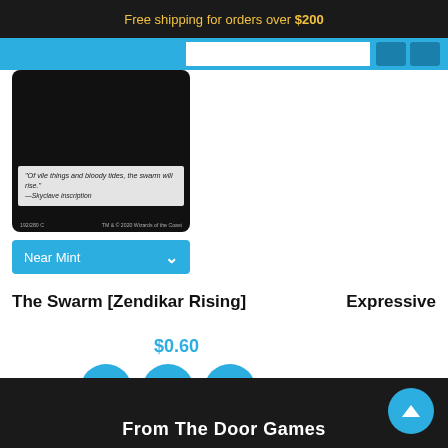Free shipping for orders over $200
[Figure (screenshot): Trading card image showing The Swarm from Zendikar Rising with flavor text on dark background]
Near Mint
The Swarm [Zendikar Rising]
Expressive
$0.60
[Figure (other): Action buttons: eye/view icon, heart/wishlist icon, and shopping cart icon in blue circles]
[Figure (other): Navigation arrows: left and right chevron buttons in circular outlines]
From The Door Games